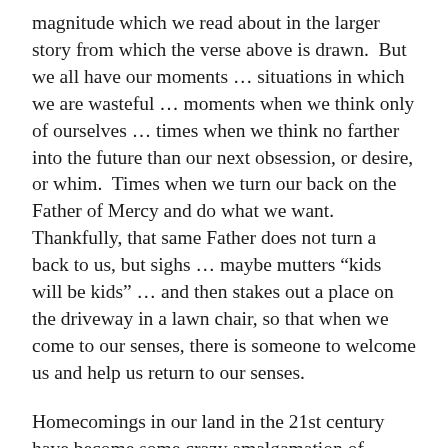magnitude which we read about in the larger story from which the verse above is drawn.  But we all have our moments … situations in which we are wasteful … moments when we think only of ourselves … times when we think no farther into the future than our next obsession, or desire, or whim.  Times when we turn our back on the Father of Mercy and do what we want.  Thankfully, that same Father does not turn a back to us, but sighs … maybe mutters “kids will be kids” … and then stakes out a place on the driveway in a lawn chair, so that when we come to our senses, there is someone to welcome us and help us return to our senses.
Homecomings in our land in the 21st century have become some crazy amalgamation of football and dances and parade floats and marching bands ( this last which I will quietly admit I do actually love).  The homecoming God always envisions is the